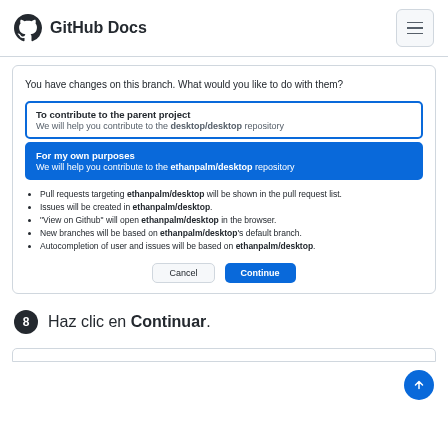GitHub Docs
[Figure (screenshot): GitHub Desktop dialog: 'You have changes on this branch. What would you like to do with them?' with two options: 'To contribute to the parent project' (unselected) and 'For my own purposes' (selected, blue). Bullet list of implications. Cancel and Continue buttons.]
Pull requests targeting ethanpalm/desktop will be shown in the pull request list.
Issues will be created in ethanpalm/desktop.
"View on Github" will open ethanpalm/desktop in the browser.
New branches will be based on ethanpalm/desktop's default branch.
Autocompletion of user and issues will be based on ethanpalm/desktop.
Haz clic en Continuar.